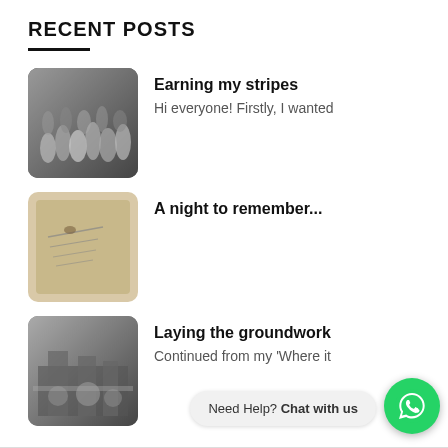RECENT POSTS
Earning my stripes — Hi everyone! Firstly, I wanted
A night to remember...
Laying the groundwork — Continued from my 'Where it
Custom Knives & Tools — For the last few months,
Need Help? Chat with us